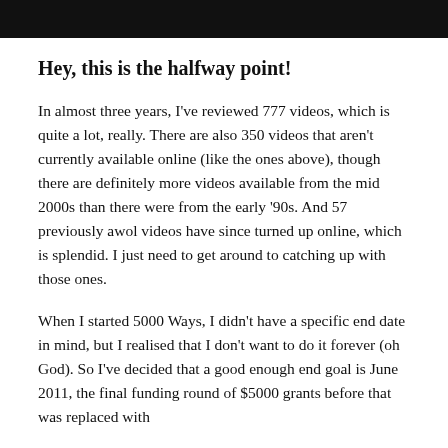Hey, this is the halfway point!
In almost three years, I've reviewed 777 videos, which is quite a lot, really. There are also 350 videos that aren't currently available online (like the ones above), though there are definitely more videos available from the mid 2000s than there were from the early '90s. And 57 previously awol videos have since turned up online, which is splendid. I just need to get around to catching up with those ones.
When I started 5000 Ways, I didn't have a specific end date in mind, but I realised that I don't want to do it forever (oh God). So I've decided that a good enough end goal is June 2011, the final funding round of $5000 grants before that was replaced with